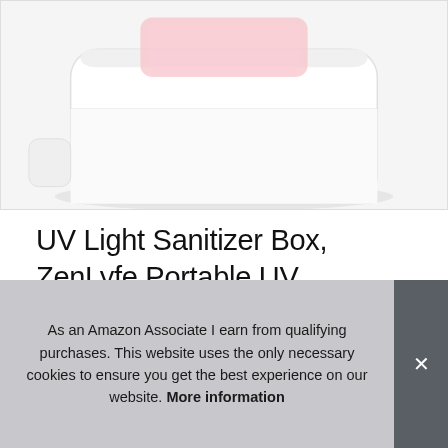[Figure (photo): White UV Light Sanitizer Box product photo, partially cropped, showing a rounded rectangular white device on a white/light grey surface]
UV Light Sanitizer Box, ZenLyfe Portable UV Disinfection Box Cell Phone Cleaner with 10W QI Wireless Charger for Smartphone iPhone
#ad
As an Amazon Associate I earn from qualifying purchases. This website uses the only necessary cookies to ensure you get the best experience on our website. More information